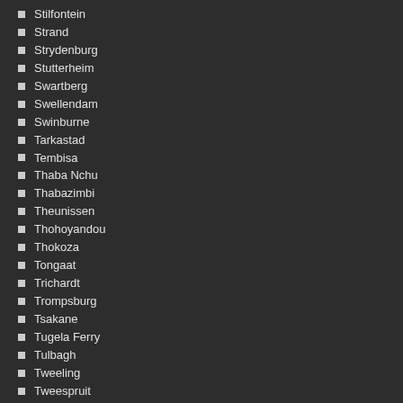Stilfontein
Strand
Strydenburg
Stutterheim
Swartberg
Swellendam
Swinburne
Tarkastad
Tembisa
Thaba Nchu
Thabazimbi
Theunissen
Thohoyandou
Thokoza
Tongaat
Trichardt
Trompsburg
Tsakane
Tugela Ferry
Tulbagh
Tweeling
Tweespruit
Ubombo
Uitenhage
Ulundi
Umbongintwini
Umdloti
Umgababa
Umhlanga Rocks